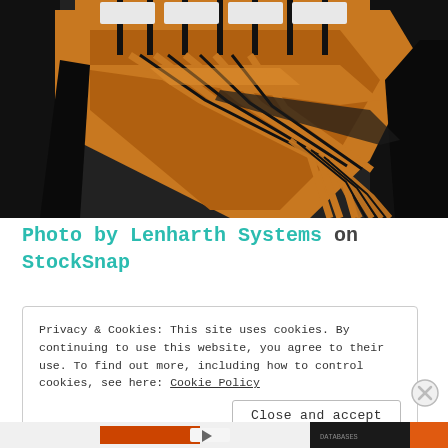[Figure (photo): Close-up macro photo of a flexible printed circuit board (FPC/flex cable) with orange/amber colored copper traces on dark background. The traces fan out from a connector area with white pads visible at top, showing detailed PCB routing.]
Photo by Lenharth Systems on StockSnap
Privacy & Cookies: This site uses cookies. By continuing to use this website, you agree to their use. To find out more, including how to control cookies, see here: Cookie Policy